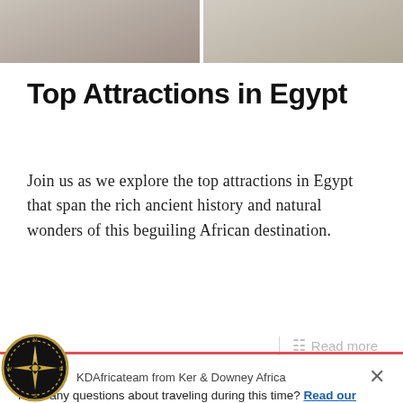[Figure (photo): Partial view of travel photos at the top of the page, showing fabric/clothing detail and people in background]
Top Attractions in Egypt
Join us as we explore the top attractions in Egypt that span the rich ancient history and natural wonders of this beguiling African destination.
Read more
[Figure (logo): Ker & Downey Africa compass rose logo — circular black badge with gold compass star]
KDAfricateam from Ker & Downey Africa
Have any questions about traveling during this time? Read our COVID-19 update or ask us anything below.
Reply to KDAfricateam